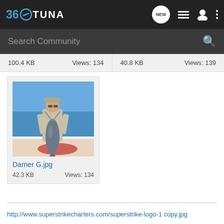[Figure (screenshot): 360Tuna website navigation bar with logo, NEW button, list icon, user icon, and dots menu]
Search Community
100.4 KB   Views: 134   40.8 KB   Views: 139
[Figure (photo): Person on a boat holding a large tuna fish, ocean in background]
Darner G.jpg
42.3 KB   Views: 134
http://www.superstrikecharters.com/superstrike-logo-1 copy.jpg